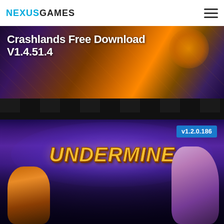NEXUSGAMES
Crashlands Free Download V1.4.51.4
[Figure (screenshot): Top banner image showing a game scene with warm orange and purple tones, characters visible with fire effects in background]
[Figure (screenshot): UnderMine game promotional image showing animated characters - a young hero with a pickaxe and a large wizard figure, with the UnderMine logo in gold letters. Version badge v1.2.0.186 shown in blue in top right corner.]